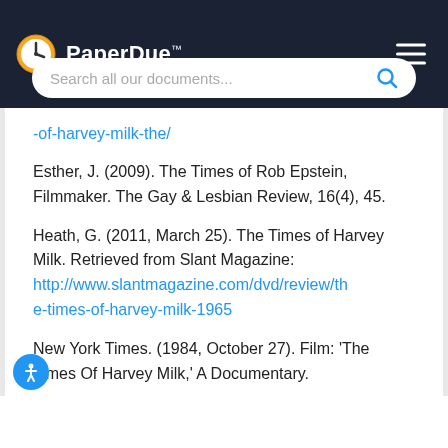PaperDue™
Search all our documents...
-of-harvey-milk-the/
Esther, J. (2009). The Times of Rob Epstein, Filmmaker. The Gay & Lesbian Review, 16(4), 45.
Heath, G. (2011, March 25). The Times of Harvey Milk. Retrieved from Slant Magazine: http://www.slantmagazine.com/dvd/review/the-times-of-harvey-milk-1965
New York Times. (1984, October 27). Film: 'The Times Of Harvey Milk,' A Documentary.